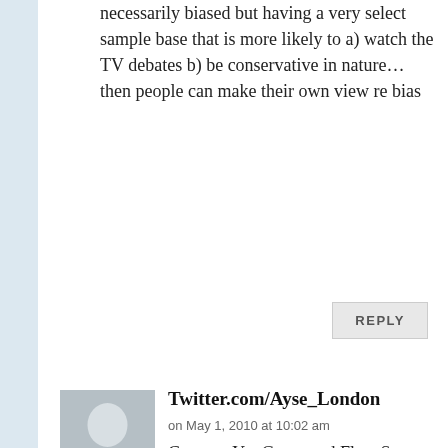necessarily biased but having a very select sample base that is more likely to a) watch the TV debates b) be conservative in nature… then people can make their own view re bias
REPLY
[Figure (illustration): Generic user avatar placeholder image — grey background with a silhouette of a person (head and shoulders)]
Twitter.com/Ayse_London
on May 1, 2010 at 10:02 am
Comres, YouGove, and Fleet Street will never have the power to hypnotise, influence or decide who I vote for. I decide who I vote for based on how the leader has conducted himself in normal times before the election, during the election and who